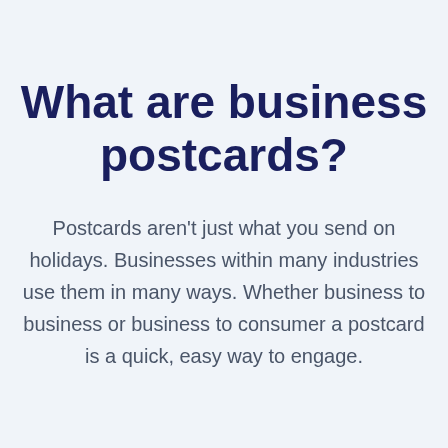What are business postcards?
Postcards aren't just what you send on holidays. Businesses within many industries use them in many ways. Whether business to business or business to consumer a postcard is a quick, easy way to engage.